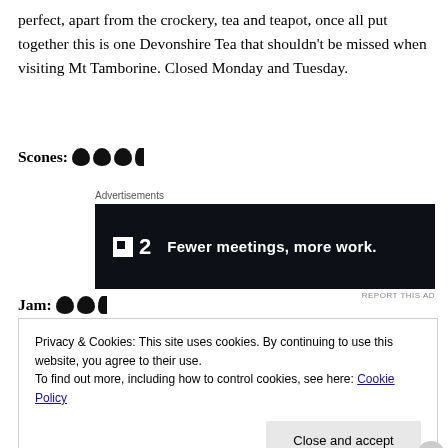perfect, apart from the crockery, tea and teapot, once all put together this is one Devonshire Tea that shouldn't be missed when visiting Mt Tamborine. Closed Monday and Tuesday.
Scones: 🫖🫖🫖◐
[Figure (screenshot): Advertisement banner: Plan logo with text 'Fewer meetings, more work.' on a dark background]
Jam: 🫖🫖◐
Privacy & Cookies: This site uses cookies. By continuing to use this website, you agree to their use. To find out more, including how to control cookies, see here: Cookie Policy
Close and accept